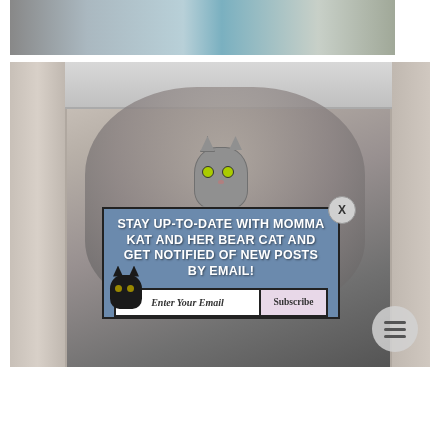[Figure (photo): Top cropped photo showing a cat on a person wearing a light blue t-shirt with a design]
[Figure (photo): Main photo of a gray cat sitting near a refrigerator, with an overlay email subscription popup for 'Momma Kat and Her Bear Cat' blog]
STAY UP-TO-DATE WITH MOMMA KAT AND HER BEAR CAT AND GET NOTIFIED OF NEW POSTS BY EMAIL!
Enter Your Email
Subscribe